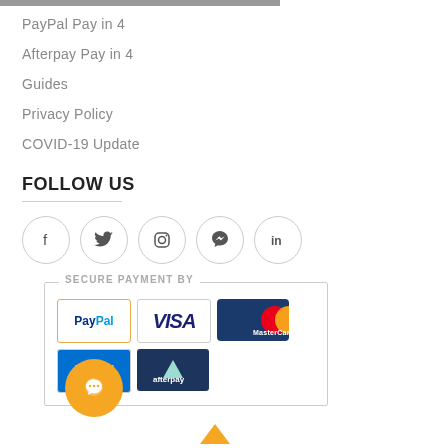PayPal Pay in 4
Afterpay Pay in 4
Guides
Privacy Policy
COVID-19 Update
FOLLOW US
[Figure (infographic): Social media icon circles: Facebook (f), Twitter (bird), Instagram (camera), Pinterest (P), LinkedIn (in)]
[Figure (infographic): Secure Payment By box with PayPal, Visa, MasterCard, American Express, and Afterpay payment logos]